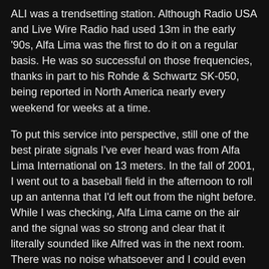ALI was a trendsetting station. Although Radio USA and Live Wire Radio had used 13m in the early '90s, Alfa Lima was the first to do it on a regular basis. He was so successful on those frequencies, thanks in part to his Rohde & Schwartz SK-050, being reported in North America nearly every weekend for weeks at a time.
To put this service into perspective, still one of the best pirate signals I've ever heard was from Alfa Lima International on 13 meters. In the fall of 2001, I went out to a baseball field in the afternoon to roll up an antenna that I'd left out from the night before. While I was checking, Alfa Lima came on the air and the signal was so strong and clear that it literally sounded like Alfred was in the next room. There was no noise whatsoever and I could even hear background sounds in his attic studio.
For a comparison of operation types, ALI was very similar to Cupid Radio, except even more active.
Back in the late '90s, the FRN was one of the only pirate